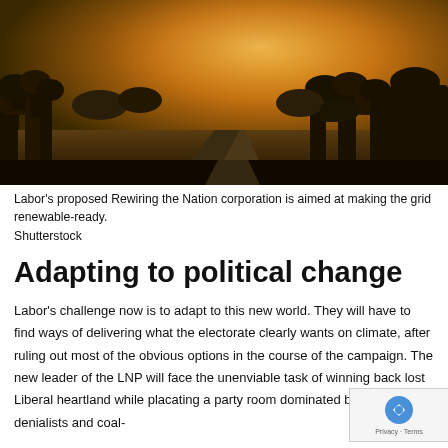[Figure (photo): A scenic dirt road winding through dense bushland under a warm orange-golden sky at dusk or dawn.]
Labor's proposed Rewiring the Nation corporation is aimed at making the grid renewable-ready.
Shutterstock
Adapting to political change
Labor's challenge now is to adapt to this new world. They will have to find ways of delivering what the electorate clearly wants on climate, after ruling out most of the obvious options in the course of the campaign. The new leader of the LNP will face the unenviable task of winning back lost Liberal heartland while placating a party room dominated by climate denialists and coal-